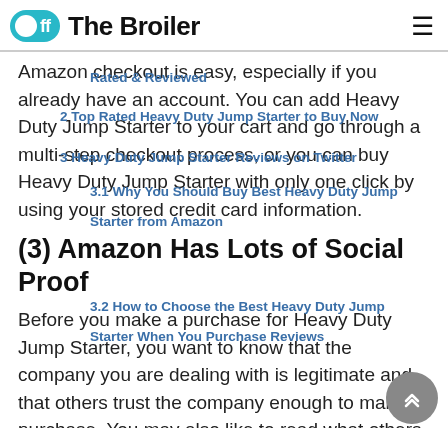Off The Broiler
Amazon checkout is easy, especially if you already have an account. You can add Heavy Duty Jump Starter to your cart and go through a multi-step checkout process, or you can buy Heavy Duty Jump Starter with only one click by using your stored credit card information.
(3) Amazon Has Lots of Social Proof
Before you make a purchase for Heavy Duty Jump Starter, you want to know that the company you are dealing with is legitimate and that others trust the company enough to make a purchase. You may also like to read what others are saying about the product in the review section. Amazon does all of this quite